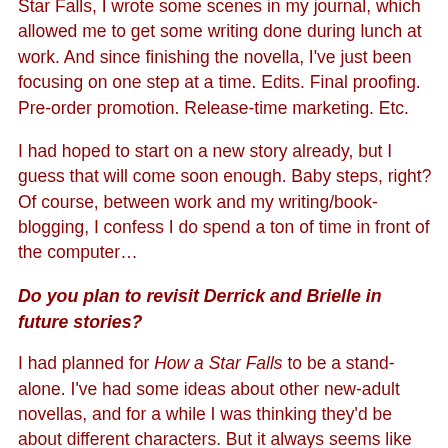Star Falls, I wrote some scenes in my journal, which allowed me to get some writing done during lunch at work. And since finishing the novella, I've just been focusing on one step at a time. Edits. Final proofing. Pre-order promotion. Release-time marketing. Etc.
I had hoped to start on a new story already, but I guess that will come soon enough. Baby steps, right? Of course, between work and my writing/book-blogging, I confess I do spend a ton of time in front of the computer…
Do you plan to revisit Derrick and Brielle in future stories?
I had planned for How a Star Falls to be a stand-alone. I've had some ideas about other new-adult novellas, and for a while I was thinking they'd be about different characters. But it always seems like reader feedback